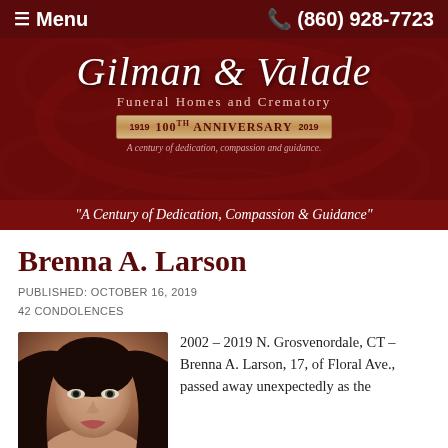≡ Menu   📞 (860) 928-7723
[Figure (logo): Gilman & Valade Funeral Homes and Crematory banner with dark red damask background, cursive script logo, 100th Anniversary ribbon (1919-2019), and tagline 'A century of dedication, compassion and guidance.']
"A Century of Dedication, Compassion & Guidance"
Brenna A. Larson
PUBLISHED: OCTOBER 16, 2019
42 CONDOLENCES
[Figure (photo): Close-up portrait photo of a young woman with dark hair and defined eyebrows, looking slightly to the side.]
2002 – 2019 N. Grosvenordale, CT – Brenna A. Larson, 17, of Floral Ave., passed away unexpectedly as the